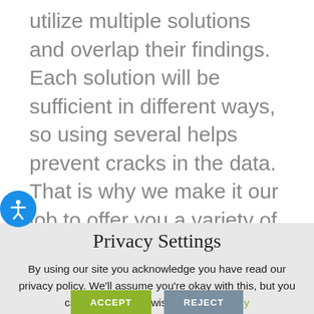utilize multiple solutions and overlap their findings. Each solution will be sufficient in different ways, so using several helps prevent cracks in the data. That is why we make it our job to offer you a variety of solutions to decrease your risks and increase your coverage. We provide you with a variety of solutions. And depending on your needs, that not only can be
Privacy Settings
By using our site you acknowledge you have read our privacy policy. We'll assume you're okay with this, but you can opt-out if you wish. Privacy Policy